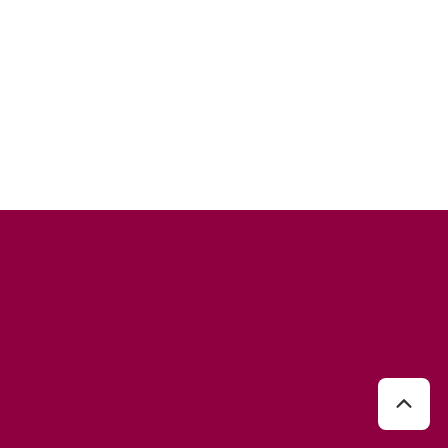[Figure (photo): White blank upper section of webpage]
About Bioty.Club
Just like you, we're pretty obsessed with beauty, whether it's testing out the latest beauty trend or, discussing the best natural bio beauty products,BiotyClub was created to give Bioty Tips.